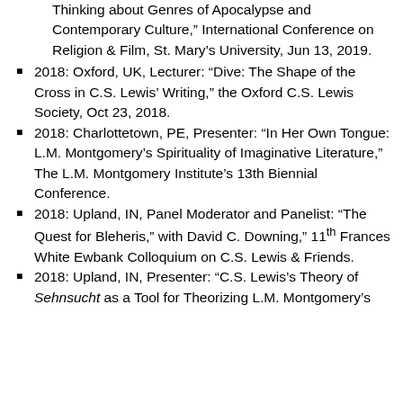Thinking about Genres of Apocalypse and Contemporary Culture,” International Conference on Religion & Film, St. Mary’s University, Jun 13, 2019.
2018: Oxford, UK, Lecturer: “Dive: The Shape of the Cross in C.S. Lewis’ Writing,” the Oxford C.S. Lewis Society, Oct 23, 2018.
2018: Charlottetown, PE, Presenter: “In Her Own Tongue: L.M. Montgomery’s Spirituality of Imaginative Literature,” The L.M. Montgomery Institute’s 13th Biennial Conference.
2018: Upland, IN, Panel Moderator and Panelist: “The Quest for Bleheris,” with David C. Downing,” 11th Frances White Ewbank Colloquium on C.S. Lewis & Friends.
2018: Upland, IN, Presenter: “C.S. Lewis’s Theory of Sehnsucht as a Tool for Theorizing L.M. Montgomery’s